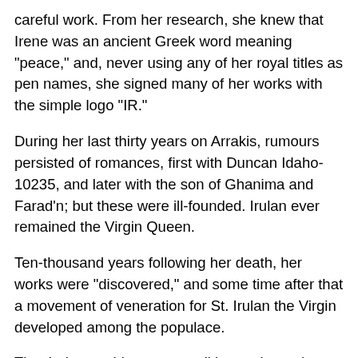careful work. From her research, she knew that Irene was an ancient Greek word meaning "peace," and, never using any of her royal titles as pen names, she signed many of her works with the simple logo "IR."
During her last thirty years on Arrakis, rumours persisted of romances, first with Duncan Idaho-10235, and later with the son of Ghanima and Farad'n; but these were ill-founded. Irulan ever remained the Virgin Queen.
Ten-thousand years following her death, her works were "discovered," and some time after that a movement of veneration for St. Irulan the Virgin developed among the populace.
That Irulan could counter tradition and remain virginal gave her special significance in the years after her death. Not merely her scholarship but also her independence of viewpoint and her transcendence of physical demands led to an idealization of her.
Only through her did women come to realize that the Imperium